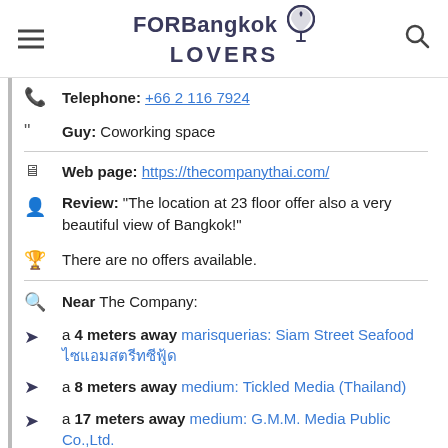FORBangkok LOVERS
Telephone: +66 2 116 7924
Guy: Coworking space
Web page: https://thecompanythai.com/
Review: "The location at 23 floor offer also a very beautiful view of Bangkok!"
There are no offers available.
Near The Company:
a 4 meters away marisquerias: Siam Street Seafood ไซแอมสตรีทซีฟู้ด
a 8 meters away medium: Tickled Media (Thailand)
a 17 meters away medium: G.M.M. Media Public Co.,Ltd.